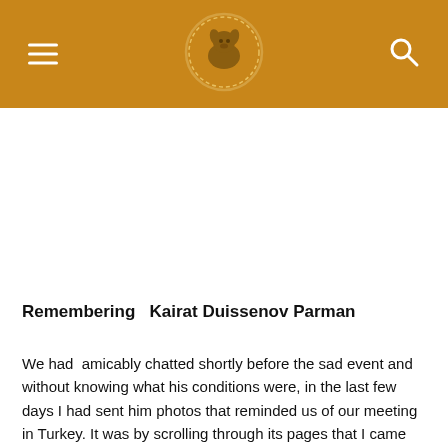Remembering Kairat Duissenov Parman
Remembering  Kairat Duissenov Parman
We had  amicably chatted shortly before the sad event and without knowing what his conditions were, in the last few days I had sent him photos that reminded us of our meeting in Turkey. It was by scrolling through its pages that I came across the